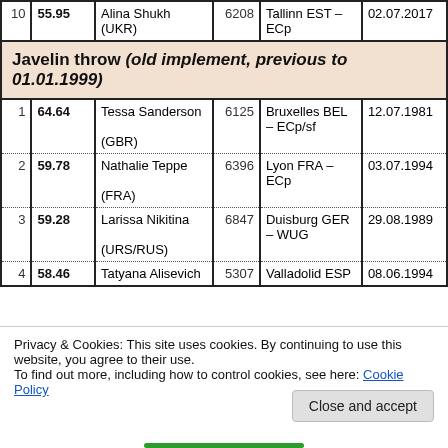| # | Perf | Athlete | Pts | Venue | Date |
| --- | --- | --- | --- | --- | --- |
| 10 | 55.95 | Alina Shukh (UKR) | 6208 | Tallinn EST – ECp | 02.07.2017 |
| SECTION | Javelin throw (old implement, previous to 01.01.1999) |  |  |  |  |
| 1 | 64.64 | Tessa Sanderson (GBR) | 6125 | Bruxelles BEL – ECp/sf | 12.07.1981 |
| 2 | 59.78 | Nathalie Teppe (FRA) | 6396 | Lyon FRA – ECp | 03.07.1994 |
| 3 | 59.28 | Larissa Nikitina (URS/RUS) | 6847 | Duisburg GER – WUG | 29.08.1989 |
| 4 | 58.46 | Tatyana Alisevich | 5307 | Valladolid ESP | 08.06.1994 |
Privacy & Cookies: This site uses cookies. By continuing to use this website, you agree to their use.
To find out more, including how to control cookies, see here: Cookie Policy